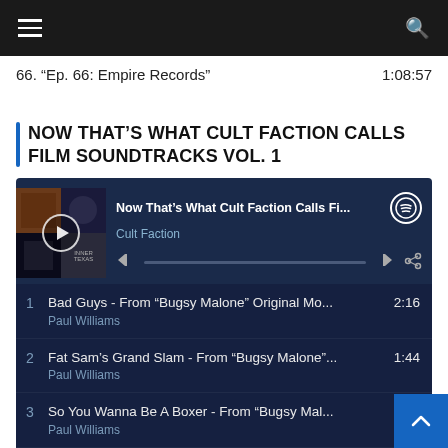Navigation bar with menu and search icons
66. "Ep. 66: Empire Records"   1:08:57
NOW THAT'S WHAT CULT FACTION CALLS FILM SOUNDTRACKS VOL. 1
[Figure (screenshot): Spotify playlist embed widget showing 'Now That's What Cult Faction Calls Fi...' by Cult Faction with playback controls]
1  Bad Guys - From "Bugsy Malone" Original Mo...  2:16  Paul Williams
2  Fat Sam's Grand Slam - From "Bugsy Malone"...  1:44  Paul Williams
3  So You Wanna Be A Boxer - From "Bugsy Mal...  Paul Williams
4  Blaze Of Glory - From "Young Guns II" Sound...  5:33  Jon Bon Jovi